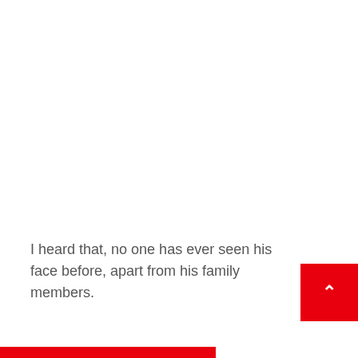I heard that, no one has ever seen his face before, apart from his family members.